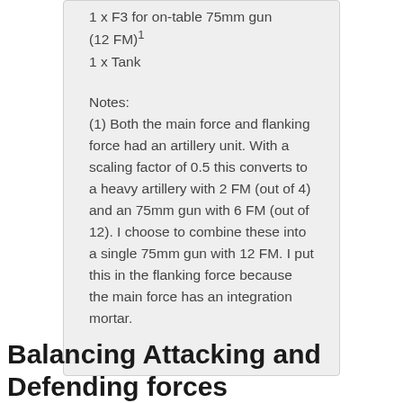1 x F3 for on-table 75mm gun (12 FM)¹
1 x Tank
Notes:
(1) Both the main force and flanking force had an artillery unit. With a scaling factor of 0.5 this converts to a heavy artillery with 2 FM (out of 4) and an 75mm gun with 6 FM (out of 12). I choose to combine these into a single 75mm gun with 12 FM. I put this in the flanking force because the main force has an integration mortar.
Balancing Attacking and Defending forces